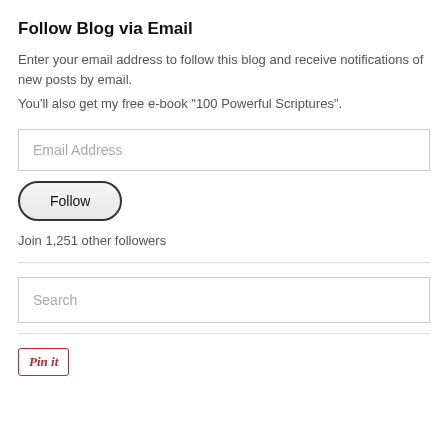Follow Blog via Email
Enter your email address to follow this blog and receive notifications of new posts by email.
You'll also get my free e-book "100 Powerful Scriptures".
[Figure (screenshot): Email Address input field]
[Figure (screenshot): Follow button, rounded pill shape]
Join 1,251 other followers
[Figure (screenshot): Search input field]
[Figure (screenshot): Pin it button with red border]